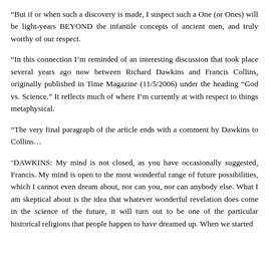“But if or when such a discovery is made, I suspect such a One (or Ones) will be light-years BEYOND the infantile concepts of ancient men, and truly worthy of our respect.
“In this connection I’m reminded of an interesting discussion that took place several years ago now between Richard Dawkins and Francis Collins, originally published in Time Magazine (11/5/2006) under the heading “God vs. Science.” It reflects much of where I’m currently at with respect to things metaphysical.
“The very final paragraph of the article ends with a comment by Dawkins to Collins…
‘DAWKINS: My mind is not closed, as you have occasionally suggested, Francis. My mind is open to the most wonderful range of future possibilities, which I cannot even dream about, nor can you, nor can anybody else. What I am skeptical about is the idea that whatever wonderful revelation does come in the science of the future, it will turn out to be one of the particular historical religions that people happen to have dreamed up. When we started